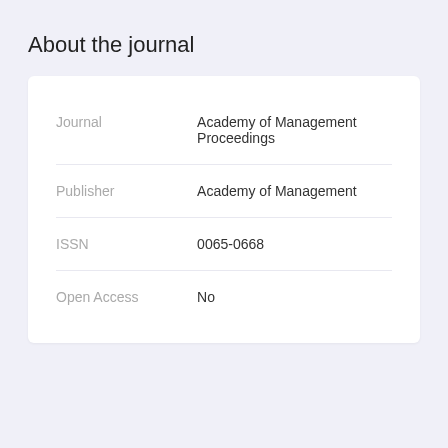About the journal
| Field | Value |
| --- | --- |
| Journal | Academy of Management Proceedings |
| Publisher | Academy of Management |
| ISSN | 0065-0668 |
| Open Access | No |